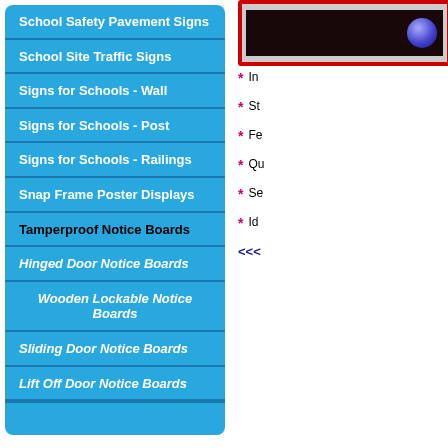School Safety Pavement Signs
School Site Traffic Signs
Signs for Schools - Wall
Signs for Schools - Post
Signs for Schools - Railings
Snap Frame Poster Displays
Tamperproof Notice Boards
Hinged Door Notice Boards
Wooden Lockable Notice Boards
Sliding Door Notice Boards
Lift Off Door Notice Boards
[Figure (photo): Product photo showing a red-framed notice board with dark interior]
* In
* St
* Fe
* Qu
* Se
* Id
<<<